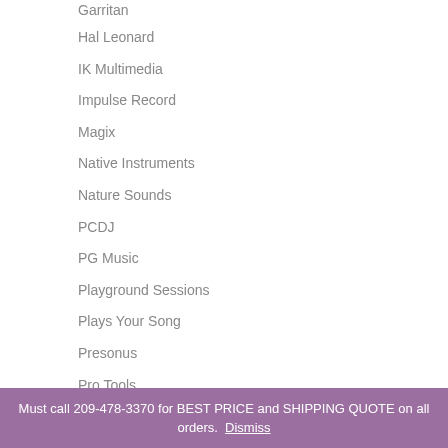Garritan
Hal Leonard
IK Multimedia
Impulse Record
Magix
Native Instruments
Nature Sounds
PCDJ
PG Music
Playground Sessions
Plays Your Song
Presonus
Pro Tools
Must call 209-478-3370 for BEST PRICE and SHIPPING QUOTE on all orders. Dismiss